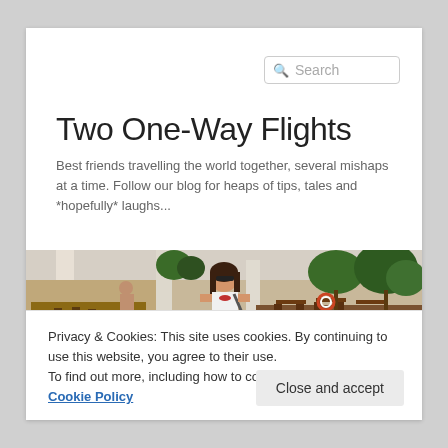[Figure (other): Search input box with magnifying glass icon and placeholder text 'Search']
Two One-Way Flights
Best friends travelling the world together, several mishaps at a time. Follow our blog for heaps of tips, tales and *hopefully* laughs...
[Figure (photo): Wide outdoor photo of a woman with sunglasses standing at a resort pool/bar area with tropical greenery in background]
Privacy & Cookies: This site uses cookies. By continuing to use this website, you agree to their use.
To find out more, including how to control cookies, see here: Cookie Policy
Close and accept